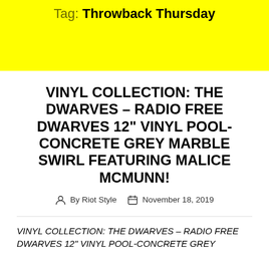Tag: Throwback Thursday
VINYL COLLECTION: THE DWARVES – RADIO FREE DWARVES 12" VINYL POOL-CONCRETE GREY MARBLE SWIRL FEATURING MALICE MCMUNN!
By Riot Style  November 18, 2019
VINYL COLLECTION: THE DWARVES – RADIO FREE DWARVES 12" VINYL POOL-CONCRETE GREY